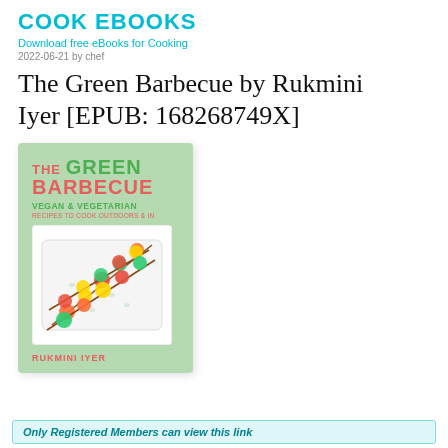COOK EBOOKS
Download free eBooks for Cooking
2022-06-21 by chef
The Green Barbecue by Rukmini Iyer [EPUB: 168268749X]
[Figure (photo): Book cover of The Green Barbecue by Rukmini Iyer, showing a light green background with colorful grilled vegetable skewers on a white tray. Title text in red and green. Subtitle: Vegan & Vegetarian Recipes to Cook Outdoors & In.]
Only Registered Members can view this link